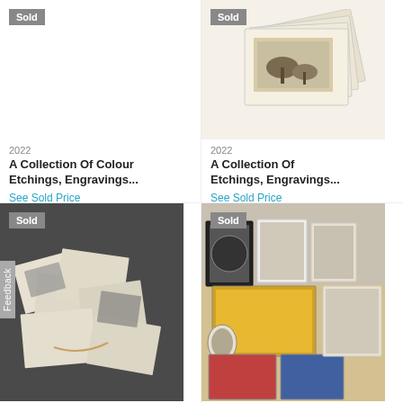[Figure (photo): Top-left sold item: blank/white area (no image shown)]
[Figure (photo): Top-right sold item: stack of mounted prints/etchings fanned out]
2022
A Collection Of Colour Etchings, Engravings...
See Sold Price
2022
A Collection Of Etchings, Engravings...
See Sold Price
[Figure (photo): Bottom-left sold item: loose scattered prints and etchings on a dark surface]
[Figure (photo): Bottom-right sold item: collection of framed pictures and prints on a table]